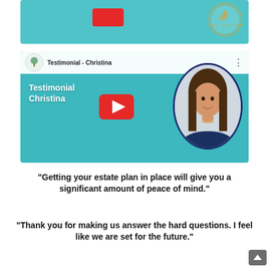[Figure (screenshot): Partial top of a YouTube-style video thumbnail with teal background, a red element, and a circular logo badge reading 'Personal Legacy Lawyer']
[Figure (screenshot): YouTube video thumbnail for 'Testimonial - Christina' featuring a teal background, white YouTube play button, text 'Testimonial Christina', and a circular portrait of a smiling woman with long brown hair]
"Getting your estate plan in place will give you a significant amount of peace of mind."
"Thank you for making us answer the hard questions. I feel like we are set for the future."